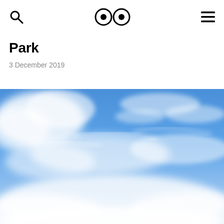Search | Logo (eyes) | Menu
Park
3 December 2019
[Figure (photo): Blue sky with wispy white clouds, taken from below looking upward]